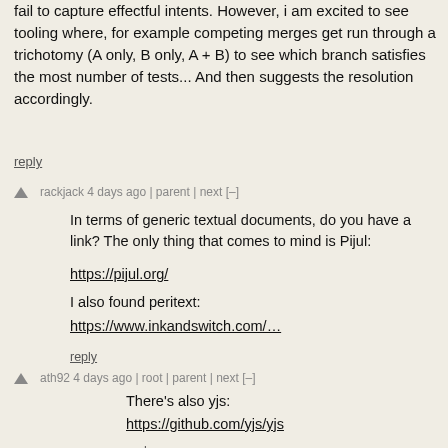fail to capture effectful intents. However, i am excited to see tooling where, for example competing merges get run through a trichotomy (A only, B only, A + B) to see which branch satisfies the most number of tests... And then suggests the resolution accordingly.
reply
rackjack 4 days ago | parent | next [–]
In terms of generic textual documents, do you have a link? The only thing that comes to mind is Pijul:
https://pijul.org/
I also found peritext:
https://www.inkandswitch.com/…
reply
ath92 4 days ago | root | parent | next [–]
There's also yjs:
https://github.com/yjs/yjs
reply
dnautics 4 days ago | root | parent | prev | next [–]
oh I think peritext is "automerge" with formatting? which is referenced by OP. OP calls it a "json-based CRDT", which is true for automerge, but that description may be confusing: JSON is the "storage/(transport?) datastructure", the "materialized datastructure" for automerge is plain text. Note that one of the creators of